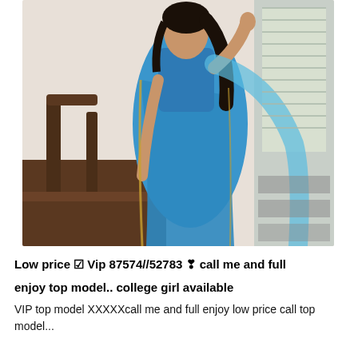[Figure (photo): Woman wearing a blue saree standing indoors near a wooden chair and window]
Low price ☑ Vip 87574//52783 ❣ call me and full enjoy top model.. college girl available
VIP top model XXXXXcall me and full enjoy low price call top model...